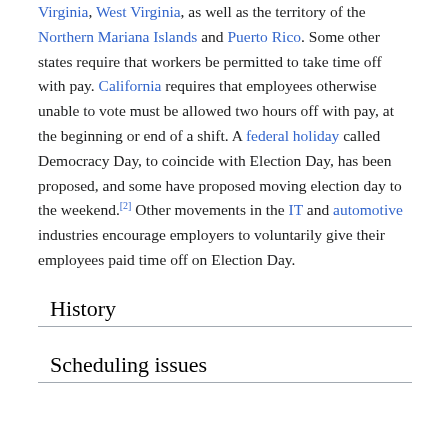Virginia, West Virginia, as well as the territory of the Northern Mariana Islands and Puerto Rico. Some other states require that workers be permitted to take time off with pay. California requires that employees otherwise unable to vote must be allowed two hours off with pay, at the beginning or end of a shift. A federal holiday called Democracy Day, to coincide with Election Day, has been proposed, and some have proposed moving election day to the weekend.[2] Other movements in the IT and automotive industries encourage employers to voluntarily give their employees paid time off on Election Day.
History
Scheduling issues